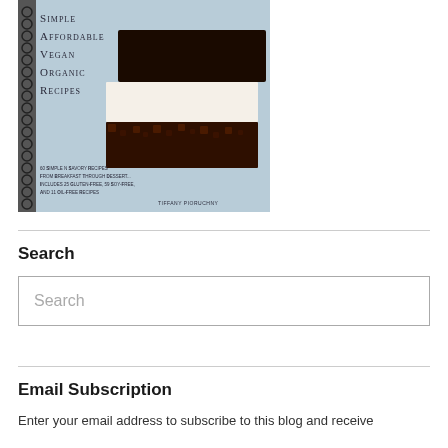[Figure (photo): A spiral-bound cookbook titled 'Simple Affordable Vegan Organic Recipes' by Tiffany Pioruchny, showing the cover with a layered chocolate dessert bar on a light blue background. Text on cover reads: 60 Simple N Savory Recipes From Breakfast Through Dessert, Includes 25 Gluten-Free, 59 Soy-Free, And 11 Oil-Free Recipes.]
Search
Search
Email Subscription
Enter your email address to subscribe to this blog and receive